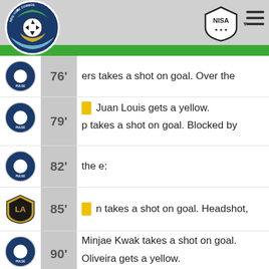[Figure (logo): New York Cosmos circular logo with soccer ball]
[Figure (logo): NISA shield logo with dropdown arrow]
76' - [Syracuse Pulse icon] ers takes a shot on goal. Over the
79' - [Syracuse Pulse icon] [Yellow card] Juan Louis gets a yellow. / p takes a shot on goal. Blocked by
82' - [Syracuse Pulse icon] the e:
85' - [LA icon] [Yellow card] n takes a shot on goal. Headshot,
90' - [Syracuse Pulse icon] Minjae Kwak takes a shot on goal. / Oliveira gets a yellow.
90' - [LA icon] Shot saved by Brandon Gomez.
90' - [Syracuse Pulse icon]